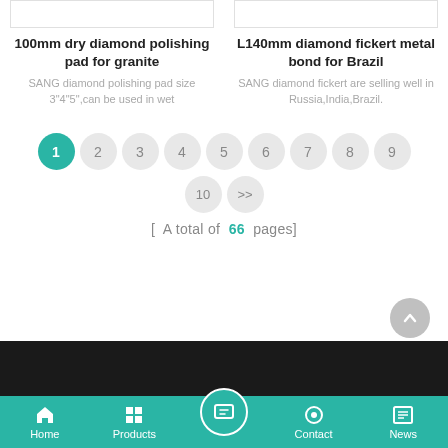[Figure (other): Product placeholder image - white box with border, left card]
100mm dry diamond polishing pad for granite
SANG diamond polishing pad size 3"4"5",can be used in wet
[Figure (other): Product placeholder image - white box with border, right card]
L140mm diamond fickert metal bond for Brazil
SANG diamond fickert are selling well in Russia,India,Brazil.
[ A total of 66 pages]